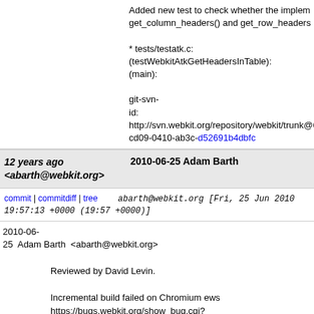Added new test to check whether the implementation of get_column_headers() and get_row_headers

* tests/testatk.c:
(testWebkitAtkGetHeadersInTable):
(main):

git-svn-
id: http://svn.webkit.org/repository/webkit/trunk@6
cd09-0410-ab3c-d52691b4dbfc
12 years ago <abarth@webkit.org>  2010-06-25 Adam Barth
commit | commitdiff | tree  abarth@webkit.org [Fri, 25 Jun 2010 19:57:13 +0000 (19:57 +0000)]
2010-06-25 Adam Barth <abarth@webkit.org>

    Reviewed by David Levin.

    Incremental build failed on Chromium ews https://bugs.webkit.org/show_bug.cgi?id=41011

    The division of responsibility between update-webkit --chromium and build-webkit --